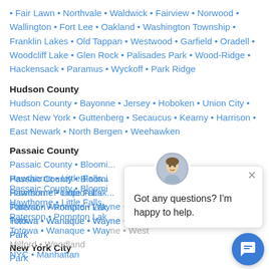• Fair Lawn • Northvale • Waldwick • Fairview • Norwood • Wallington • Fort Lee • Oakland • Washington Township • Franklin Lakes • Old Tappan • Westwood • Garfield • Oradell • Woodcliff Lake • Glen Rock • Palisades Park • Wood-Ridge • Hackensack • Paramus • Wyckoff • Park Ridge
Hudson County
Hudson County • Bayonne • Jersey • Hoboken • Union City • West New York • Guttenberg • Secaucus • Kearny • Harrison • East Newark • North Bergen • Weehawken
Passaic County
Passaic County • Bloomi... Hawthorne • Little Falls... Paterson • Pompton Lak... Totowa • Wanaque • Wayne • West Milford • Woodland Park
New York City
NYC • Manhattan
[Figure (screenshot): Chat popup overlay with avatar photo of a man, close button (×), and text 'Got any questions? I'm happy to help.' with a blue chat bubble button in the bottom right corner.]